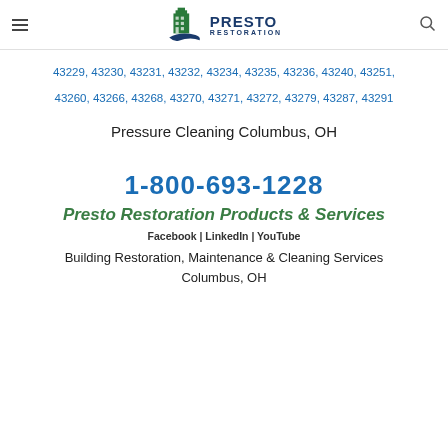Presto Restoration [logo header]
43229, 43230, 43231, 43232, 43234, 43235, 43236, 43240, 43251, 43260, 43266, 43268, 43270, 43271, 43272, 43279, 43287, 43291
Pressure Cleaning Columbus, OH
1-800-693-1228
Presto Restoration Products & Services
Facebook | LinkedIn | YouTube
Building Restoration, Maintenance & Cleaning Services Columbus, OH